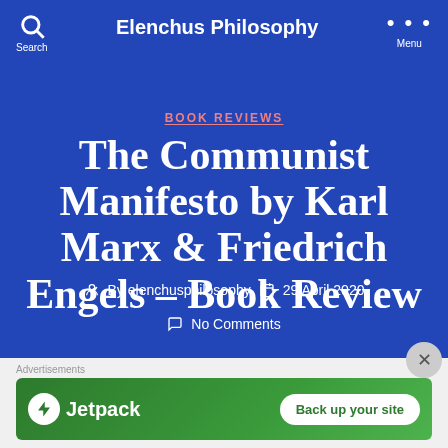Elenchus Philosophy
BOOK REVIEWS
The Communist Manifesto by Karl Marx & Friedrich Engels – Book Review
By elenchusphilosophy  29 April 2020
No Comments
[Figure (screenshot): Jetpack advertisement banner with green background, Jetpack logo and 'Back up your site' button]